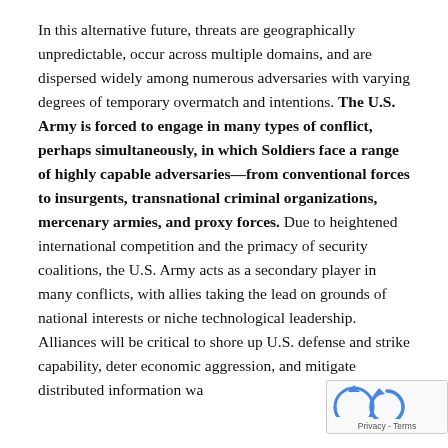In this alternative future, threats are geographically unpredictable, occur across multiple domains, and are dispersed widely among numerous adversaries with varying degrees of temporary overmatch and intentions. The U.S. Army is forced to engage in many types of conflict, perhaps simultaneously, in which Soldiers face a range of highly capable adversaries—from conventional forces to insurgents, transnational criminal organizations, mercenary armies, and proxy forces. Due to heightened international competition and the primacy of security coalitions, the U.S. Army acts as a secondary player in many conflicts, with allies taking the lead on grounds of national interests or niche technological leadership. Alliances will be critical to shore up U.S. defense and strike capability, deter economic aggression, and mitigate distributed information wa...
[Figure (other): reCAPTCHA widget overlay showing a circular arrow icon and 'Privacy - Terms' label]